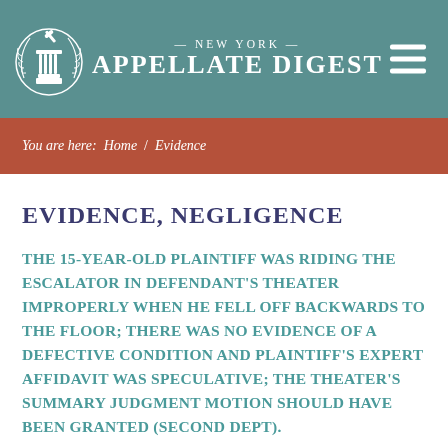NEW YORK APPELLATE DIGEST
You are here: Home / Evidence
EVIDENCE, NEGLIGENCE
THE 15-YEAR-OLD PLAINTIFF WAS RIDING THE ESCALATOR IN DEFENDANT'S THEATER IMPROPERLY WHEN HE FELL OFF BACKWARDS TO THE FLOOR; THERE WAS NO EVIDENCE OF A DEFECTIVE CONDITION AND PLAINTIFF'S EXPERT AFFIDAVIT WAS SPECULATIVE; THE THEATER'S SUMMARY JUDGMENT MOTION SHOULD HAVE BEEN GRANTED (SECOND DEPT).